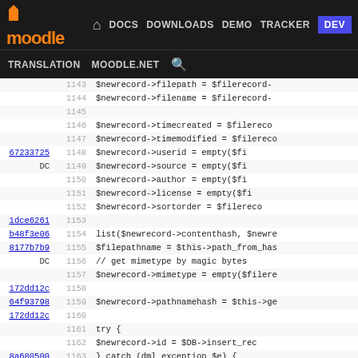moodle | DOCS DOWNLOADS DEMO TRACKER DEV | TRANSLATION MOODLE.NET
Code viewer showing lines 1143-1169 of a PHP file with git blame annotations including commit hashes: 67233725, DC, 1dce6261, b48f3e06, 8177b7b9, DC, 172dd12c, 64f93798, 172dd12c, 8a680500, 172dd12c, ead14290, 172dd12c, 64f93798, 694f3b74, 172dd12c
[Figure (screenshot): Moodle developer documentation code viewer showing PHP source code with git blame commit hash annotations on the left, line numbers, and code content showing file record operations including $newrecord->filepath, $newrecord->filename, timecreated, timemodified, userid, source, author, license, sortorder, contenthash, mimetype, pathnamehash, try/catch block with $DB->insert_rec, deleted_file_cleanup, stored_file_creation_e]